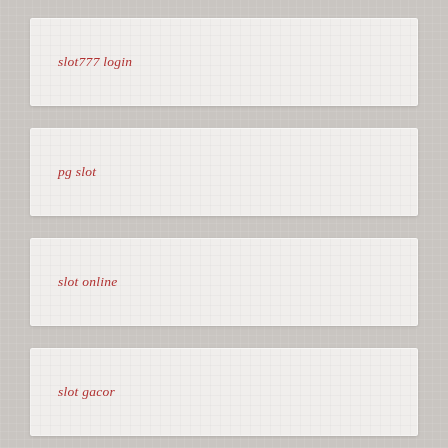slot777 login
pg slot
slot online
slot gacor
slot pulsa tanpa potongan